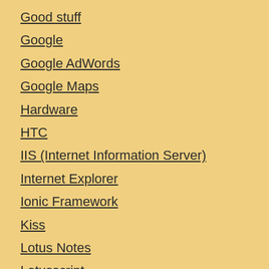Good stuff
Google
Google AdWords
Google Maps
Hardware
HTC
IIS (Internet Information Server)
Internet Explorer
Ionic Framework
Kiss
Lotus Notes
Lotusscript
Microsoft Exchange